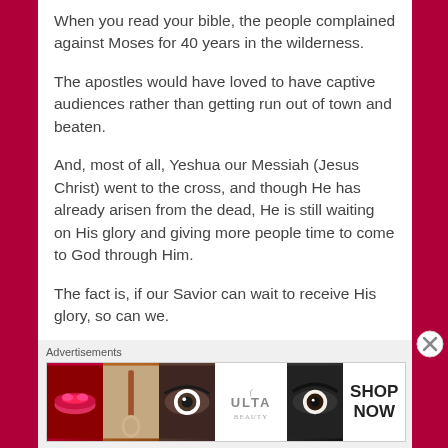When you read your bible, the people complained against Moses for 40 years in the wilderness.
The apostles would have loved to have captive audiences rather than getting run out of town and beaten.
And, most of all, Yeshua our Messiah (Jesus Christ) went to the cross, and though He has already arisen from the dead, He is still waiting on His glory and giving more people time to come to God through Him.
The fact is, if our Savior can wait to receive His glory, so can we.
Advertisements
[Figure (photo): Advertisements banner showing beauty products including lips, makeup brush, eye, Ulta Beauty logo, eye, and SHOP NOW button]